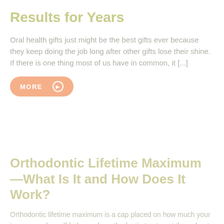Results for Years
Oral health gifts just might be the best gifts ever because they keep doing the job long after other gifts lose their shine. If there is one thing most of us have in common, it [...]
MORE ➤
Orthodontic Lifetime Maximum—What Is It and How Does It Work?
Orthodontic lifetime maximum is a cap placed on how much your insurance plan will help pay for orthodontic treatment throughout your life. The exact amount varies, which is why it's important to [...]